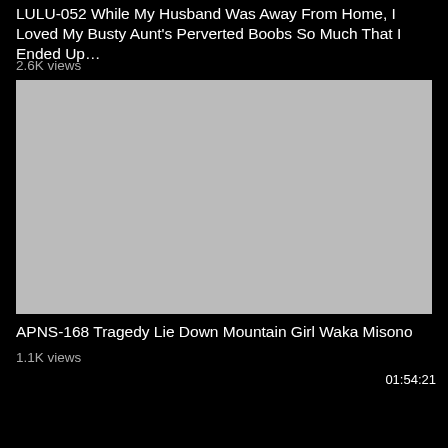LULU-052 While My Husband Was Away From Home, I Loved My Busty Aunt's Perverted Boobs So Much That I Ended Up…
2.6K views
[Figure (screenshot): Gray video thumbnail with duration overlay showing 01:54:21 in bottom right corner]
APNS-168 Tragedy Lie Down Mountain Girl Waka Misono
1.1K views